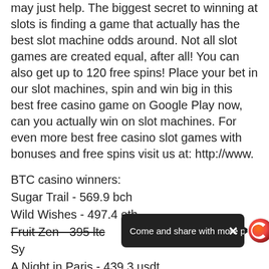may just help. The biggest secret to winning at slots is finding a game that actually has the best slot machine odds around. Not all slot games are created equal, after all! You can also get up to 120 free spins! Place your bet in our slot machines, spin and win big in this best free casino game on Google Play now, can you actually win on slot machines. For even more best free casino slot games with bonuses and free spins visit us at: http://www.
BTC casino winners:
Sugar Trail - 569.9 bch
Wild Wishes - 497.4 eth
Fruit Zen - 395 ltc
Sy...
A Night in Paris - 439.3 usdt
Santa´s Village - 208.7 bch
Eagle Bucks - 72.6 dog
Vikings go Berzerk - 551.5 ltc
Mega Power Heroes - 745.2 ltc
[Figure (other): Dark toast/snackbar overlay saying 'Come and share with more people!' with an X close button, and a circular orange/red logo icon to the right]